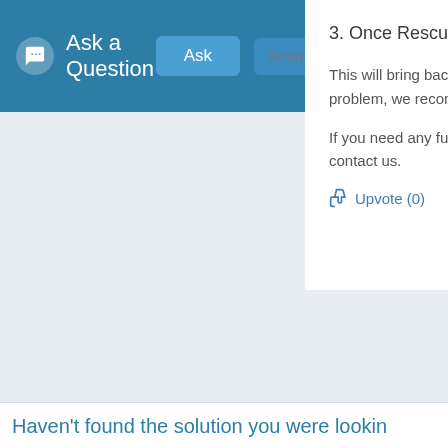Ask a Question
3. Once Rescue Cer
This will bring back t problem, we recomm
If you need any furth contact us.
👍 Upvote (0)
Haven't found the solution you were lookin